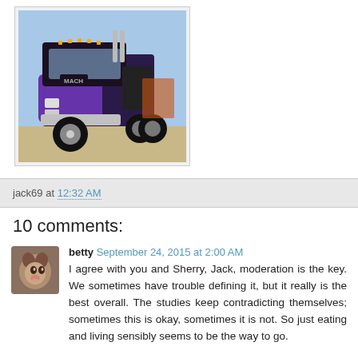[Figure (photo): A purple/black Mack semi truck cab parked in a lot, photographed from the front-left angle. The truck has chrome details and is set against a blue sky background.]
jack69 at 12:32 AM
10 comments:
[Figure (photo): Small avatar photo of a dog (appears to be a husky or similar breed) for user 'betty'.]
betty September 24, 2015 at 2:00 AM
I agree with you and Sherry, Jack, moderation is the key. We sometimes have trouble defining it, but it really is the best overall. The studies keep contradicting themselves; sometimes this is okay, sometimes it is not. So just eating and living sensibly seems to be the way to go.